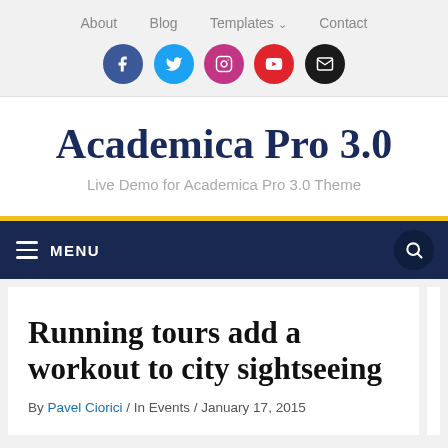About   Blog   Templates ∨   Contact
[Figure (illustration): Social media icons row: Facebook (blue), Twitter (light blue), Instagram (pink/magenta), YouTube (red), Email (black)]
Academica Pro 3.0
Live Demo for Academica Pro 3.0 Theme
≡ MENU
Running tours add a workout to city sightseeing
By Pavel Ciorici / In Events / January 17, 2015